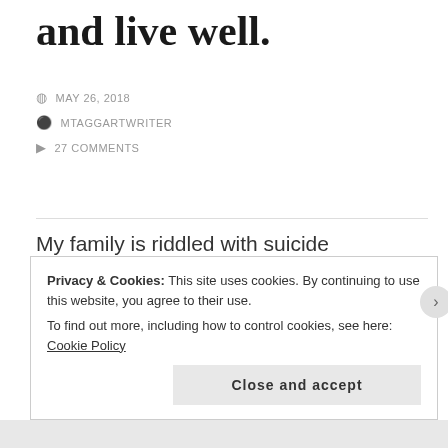and live well.
MAY 26, 2018
MTAGGARTWRITER
27 COMMENTS
My family is riddled with suicide
I myself am not suicidal
Quite the opposite. I love life.
In fact for much of my life I've experienced
Jealousy from others over my ability
To be happy in terrible situations
Privacy & Cookies: This site uses cookies. By continuing to use this website, you agree to their use.
To find out more, including how to control cookies, see here: Cookie Policy
Close and accept